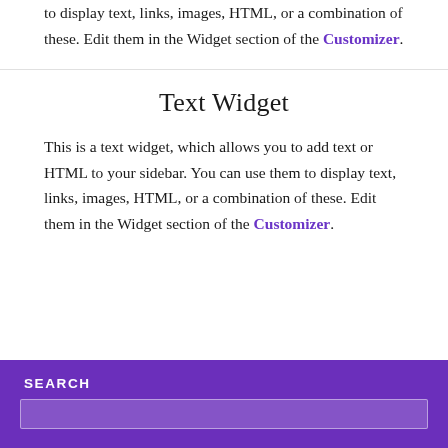to display text, links, images, HTML, or a combination of these. Edit them in the Widget section of the Customizer.
Text Widget
This is a text widget, which allows you to add text or HTML to your sidebar. You can use them to display text, links, images, HTML, or a combination of these. Edit them in the Widget section of the Customizer.
SEARCH